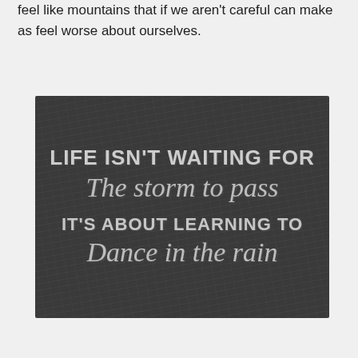feel like mountains that if we aren't careful can make as feel worse about ourselves.
[Figure (photo): Black and white photo of a chalkboard with handwritten chalk text reading: LIFE ISN'T WAITING FOR The storm to pass IT'S ABOUT LEARNING TO Dance in the rain]